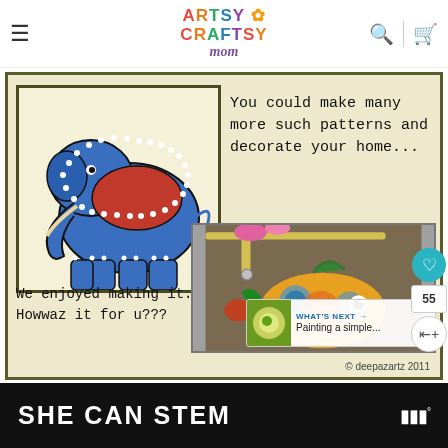Artsy Craftsy Mom — navigation header with search and cart icons
[Figure (illustration): Composite craft tutorial image on beige background with dark olive border. Top-left: a colorful blue elephant folk art painting with red saddle and white dotted borders. Top-right text: 'You could make many more such patterns and decorate your home...' Bottom-left text: 'We enjoyed making it. Howwaz it for u???' Bottom-right: photo of a colorful fish mobile craft hanging. Copyright: © deepazartz 2011]
SHE CAN STEM
SHE CAN STEM — advertisement banner